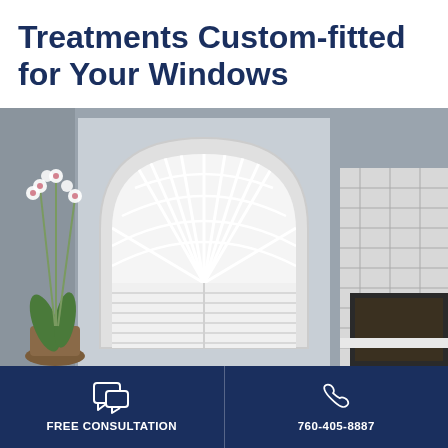Treatments Custom-fitted for Your Windows
[Figure (photo): Interior room photo showing a large arched window with custom white plantation shutters in a fan/sunburst pattern at the top and horizontal louvers below. White orchid flowers are visible on the left, and a white tile fireplace is on the right. The walls are gray.]
FREE CONSULTATION
760-405-8887